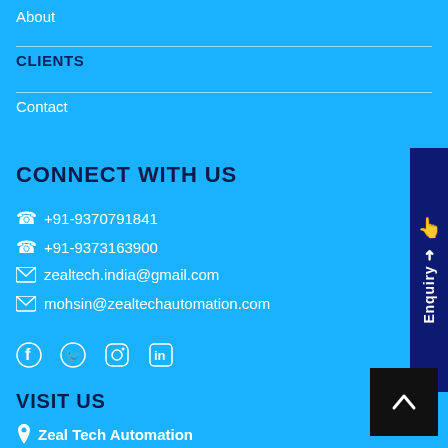About
CLIENTS
Contact
CONNECT WITH US
📞 +91-9370791841
📞 +91-9373163900
✉ zealtech.india@gmail.com
✉ mohsin@zealtechautomation.com
[Figure (infographic): Social media icons: Facebook, Twitter, Instagram, LinkedIn]
VISIT US
📍 Zeal Tech Automation
[Figure (infographic): Dark blue vertical sidebar with Enquiry text and hand pointer icon]
[Figure (infographic): Black button with white upward arrow for back to top]